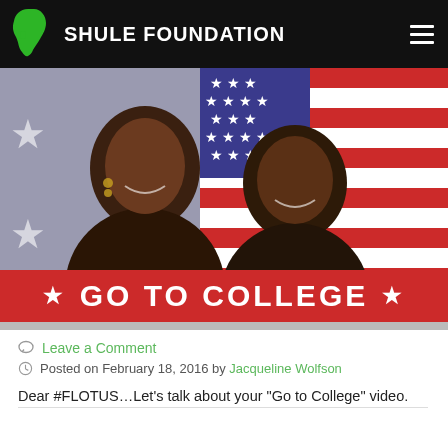SHULE FOUNDATION
[Figure (photo): Two smiling people in front of an American flag with a 'Go to College' red banner at the bottom]
Leave a Comment
Posted on February 18, 2016 by Jacqueline Wolfson
Dear #FLOTUS…Let’s talk about your “Go to College” video.